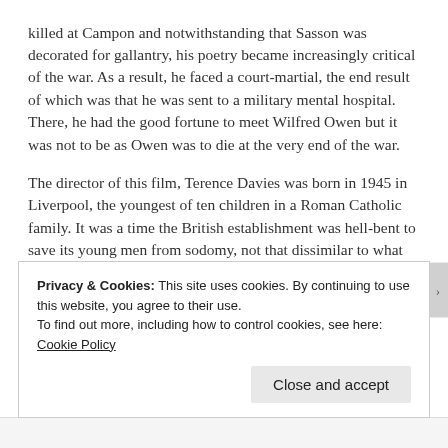killed at Campon and notwithstanding that Sasson was decorated for gallantry, his poetry became increasingly critical of the war. As a result, he faced a court-martial, the end result of which was that he was sent to a military mental hospital. There, he had the good fortune to meet Wilfred Owen but it was not to be as Owen was to die at the very end of the war.
The director of this film, Terence Davies was born in 1945 in Liverpool, the youngest of ten children in a Roman Catholic family. It was a time the British establishment was hell-bent to save its young men from sodomy, not that dissimilar to what Sassoon had endured fifty years earlier. However, Davies has stated publically that he hated being gay.  Yet he has now made a biopic about Sassoon whose sexuality was complex
Privacy & Cookies: This site uses cookies. By continuing to use this website, you agree to their use.
To find out more, including how to control cookies, see here: Cookie Policy